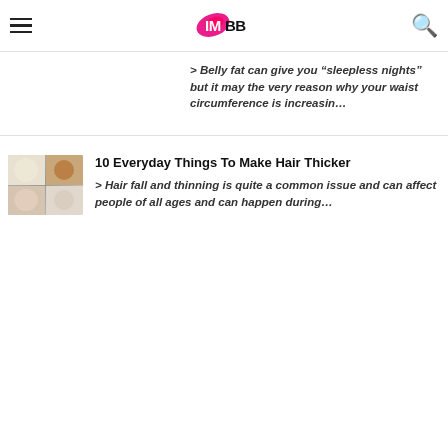IMBB
> Belly fat can give you “sleepless nights” but it may the very reason why your waist circumference is increasin…
10 Everyday Things To Make Hair Thicker
> Hair fall and thinning is quite a common issue and can affect people of all ages and can happen during…